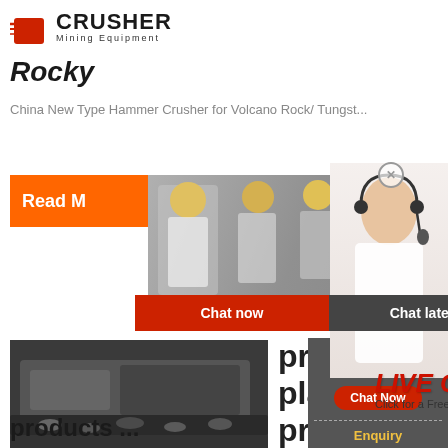[Figure (logo): Crusher Mining Equipment logo with red shopping bag icon and bold CRUSHER text]
Rocky
China New Type Hammer Crusher for Volcano Rock/ Tungst...
[Figure (screenshot): Live chat overlay popup with workers in hard hats background, LIVE CHAT title in red, 'Click for a Free Consultation' subtitle, Chat now (red) and Chat later (dark) buttons, 24Hrs Online badge, and customer service representative with headset on right]
[Figure (photo): Industrial crusher equipment and machinery plant]
proce
plant,
proce
plant
Need questions & suggestion? Chat Now
Enquiry
limingjlmofen@sina.com
products ...